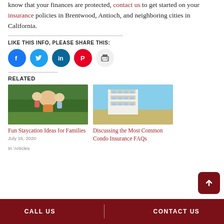know that your finances are protected, contact us to get started on your insurance policies in Brentwood, Antioch, and neighboring cities in California.
LIKE THIS INFO, PLEASE SHARE THIS:
[Figure (infographic): Social sharing icons: Facebook (blue), Twitter (light blue), LinkedIn (dark blue), Pinterest (red), Print (gray)]
RELATED
[Figure (photo): Family outdoors in a green park, father holding children on shoulders]
Fun Staycation Ideas for Families
July 16, 2020
In 'Articles
[Figure (photo): Multi-story condo building under blue sky]
Discussing the Most Common Condo Insurance FAQs
CALL US | CONTACT US